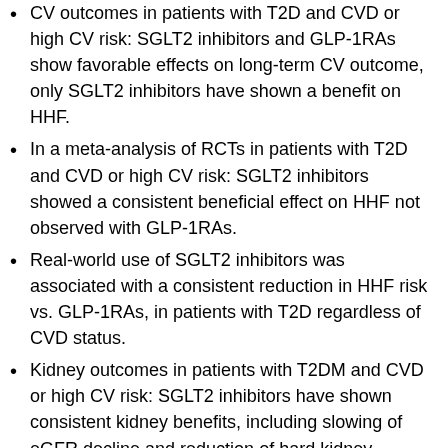CV outcomes in patients with T2D and CVD or high CV risk: SGLT2 inhibitors and GLP-1RAs show favorable effects on long-term CV outcome, only SGLT2 inhibitors have shown a benefit on HHF.
In a meta-analysis of RCTs in patients with T2D and CVD or high CV risk: SGLT2 inhibitors showed a consistent beneficial effect on HHF not observed with GLP-1RAs.
Real-world use of SGLT2 inhibitors was associated with a consistent reduction in HHF risk vs. GLP-1RAs, in patients with T2D regardless of CVD status.
Kidney outcomes in patients with T2DM and CVD or high CV risk: SGLT2 inhibitors have shown consistent kidney benefits, including slowing of eGFR decline and reduction of hard kidney outcomes. All SGLT2 inhibitors but not all GLP-1RAs have demonstrated benefit in slowing eGFR decline over time when compared with placebo in patients with T2DM and CVD or high CV risk.
The risk-benefit ratio has always to be assessed before